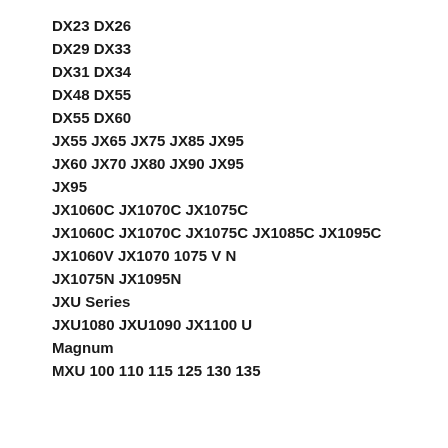DX23 DX26
DX29 DX33
DX31 DX34
DX48 DX55
DX55 DX60
JX55 JX65 JX75 JX85 JX95
JX60 JX70 JX80 JX90 JX95
JX95
JX1060C JX1070C JX1075C
JX1060C JX1070C JX1075C JX1085C JX1095C
JX1060V JX1070 1075 V N
JX1075N JX1095N
JXU Series
JXU1080 JXU1090 JX1100 U
Magnum
MXU 100 110 115 125 130 135